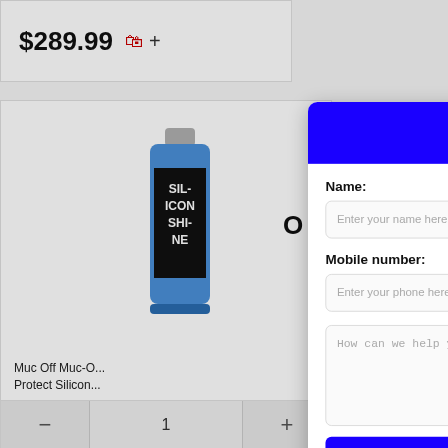$289.99
[Figure (screenshot): E-commerce product page showing a Muc Off Silicon Shine product with price $289.99, quantity selector showing 1, and a 'Text us!' chat modal overlay with fields for Name, Mobile number, and a message textarea, plus a Send Text button and Ikeono branding]
Text us!
Name:
Enter your name here
Mobile number:
Enter your phone here
How can we help you?
Send Text
We connect with Ikeono
Muc Off Muc-O... Protect Silicon...
1